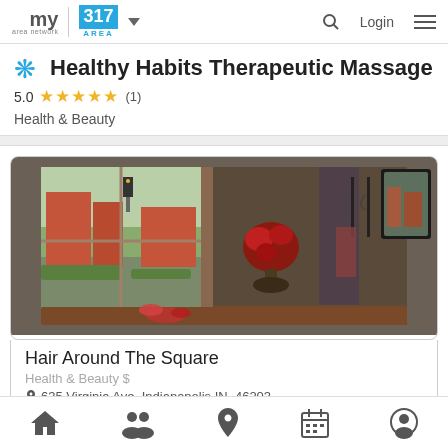my area network | 317 AREA | Login
Healthy Habits Therapeutic Massage
5.0 ★★★★★ (1)
Health & Beauty
[Figure (photo): Interior photo of Hair Around The Square salon showing large windows looking onto a street intersection with brick buildings, a flower arrangement on the counter, coat hooks on the wall, and a mirror.]
Hair Around The Square
Health & Beauty $
635 Virginia Ave, Indianapolis IN, 46203
Home | Groups | Location | Calendar | Profile